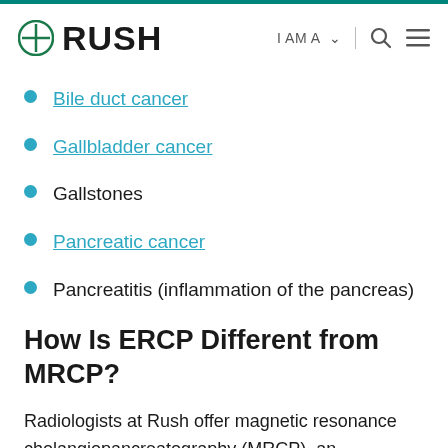RUSH | I AM A | [search] [menu]
Bile duct cancer
Gallbladder cancer
Gallstones
Pancreatic cancer
Pancreatitis (inflammation of the pancreas)
How Is ERCP Different from MRCP?
Radiologists at Rush offer magnetic resonance cholangiopancreatography (MRCP), an alternative to ERCP for diagnosing conditions